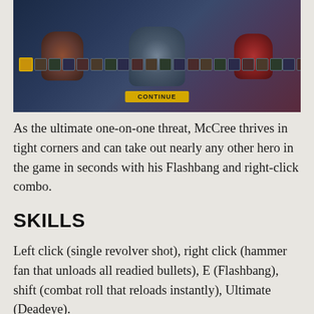[Figure (screenshot): Game screenshot showing Overwatch hero selection screen with characters and a yellow CONTINUE button]
As the ultimate one-on-one threat, McCree thrives in tight corners and can take out nearly any other hero in the game in seconds with his Flashbang and right-click combo.
SKILLS
Left click (single revolver shot), right click (hammer fan that unloads all readied bullets), E (Flashbang), shift (combat roll that reloads instantly), Ultimate (Deadeye).
Role: Offense
ATTACK AND DEFENSE